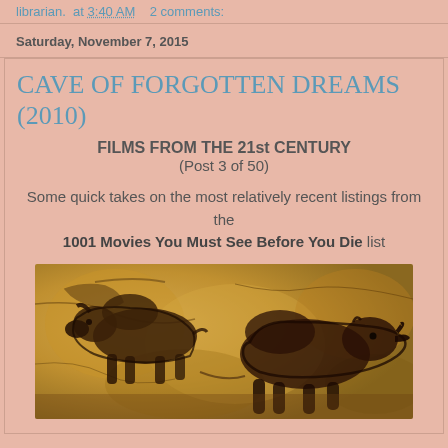librarian.  at  3:40 AM    2 comments:
Saturday, November 7, 2015
CAVE OF FORGOTTEN DREAMS (2010)
FILMS FROM THE 21st CENTURY
(Post 3 of 50)
Some quick takes on the most relatively recent listings from the 1001 Movies You Must See Before You Die list
[Figure (photo): Cave painting showing prehistoric animal figures (bison/rhinoceros) from Chauvet Cave, painted in dark outline on ochre-colored rock surface]